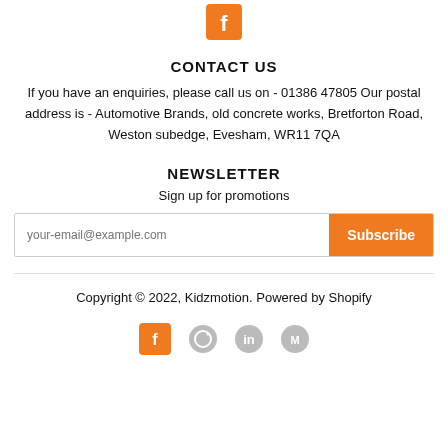[Figure (logo): Orange Facebook icon square at top center]
CONTACT US
If you have an enquiries, please call us on - 01386 47805 Our postal address is - Automotive Brands, old concrete works, Bretforton Road, Weston subedge, Evesham, WR11 7QA
NEWSLETTER
Sign up for promotions
your-email@example.com  Subscribe
Copyright © 2022, Kidzmotion. Powered by Shopify
[Figure (logo): Social media icons at bottom]